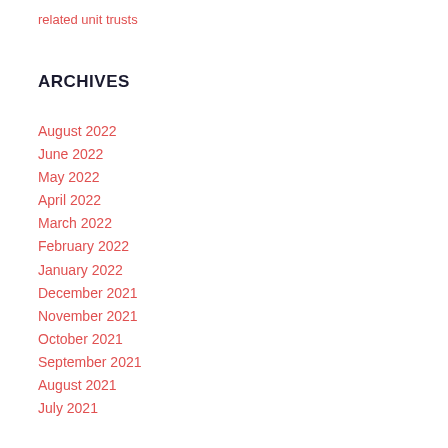related unit trusts
ARCHIVES
August 2022
June 2022
May 2022
April 2022
March 2022
February 2022
January 2022
December 2021
November 2021
October 2021
September 2021
August 2021
July 2021